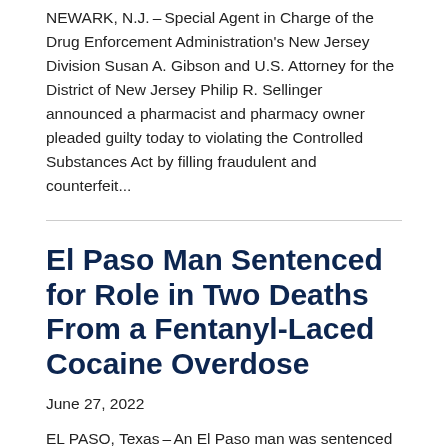NEWARK, N.J. – Special Agent in Charge of the Drug Enforcement Administration's New Jersey Division Susan A. Gibson and U.S. Attorney for the District of New Jersey Philip R. Sellinger announced a pharmacist and pharmacy owner pleaded guilty today to violating the Controlled Substances Act by filling fraudulent and counterfeit...
El Paso Man Sentenced for Role in Two Deaths From a Fentanyl-Laced Cocaine Overdose
June 27, 2022
EL PASO, Texas – An El Paso man was sentenced today to 293 months in federal prison for his role in two deaths resulting from a fentanyl-laced cocaine